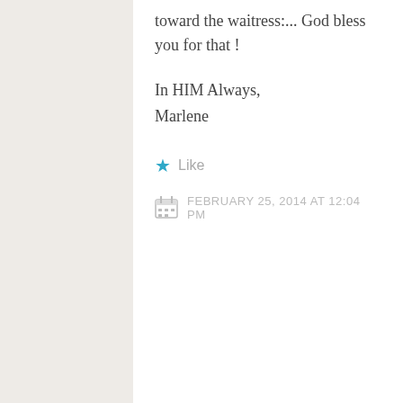toward the waitress:... God bless you for that!
In HIM Always,
Marlene
★ Like
FEBRUARY 25, 2014 AT 12:04 PM
[Figure (illustration): Circular geometric quilt-pattern avatar in dark purple/black]
IdealisticRebel
This is always a difficult experience for children and parents. Very good blog. Hugs, Barbara
★ Like